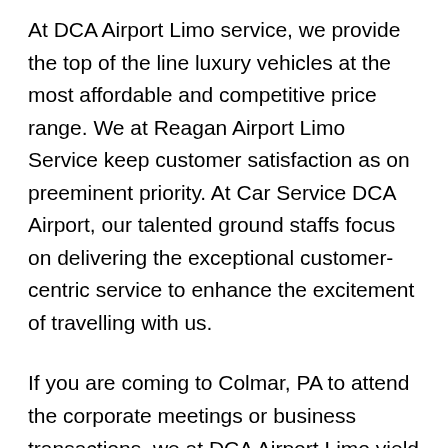At DCA Airport Limo service, we provide the top of the line luxury vehicles at the most affordable and competitive price range. We at Reagan Airport Limo Service keep customer satisfaction as on preeminent priority. At Car Service DCA Airport, our talented ground staffs focus on delivering the exceptional customer-centric service to enhance the excitement of travelling with us.
If you are coming to Colmar, PA to attend the corporate meetings or business transactions, we at DCA Airport Limo yield you the most astonishing and premium car service to boast your opulence and style. With Reagan Airport Car Service, you get the most courteous, uniformed, and highly professional chauffeur service with aggrandized convenience